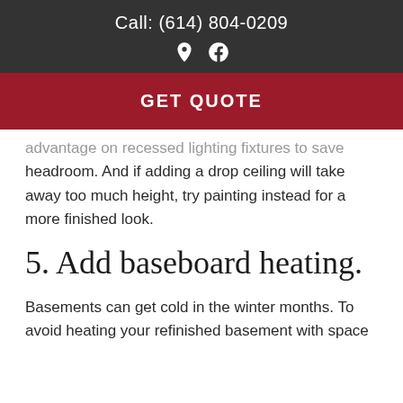Call: (614) 804-0209
[Figure (other): Location pin and Facebook icon in white on dark background]
GET QUOTE
advantage on recessed lighting fixtures to save headroom. And if adding a drop ceiling will take away too much height, try painting instead for a more finished look.
5. Add baseboard heating.
Basements can get cold in the winter months. To avoid heating your refinished basement with space